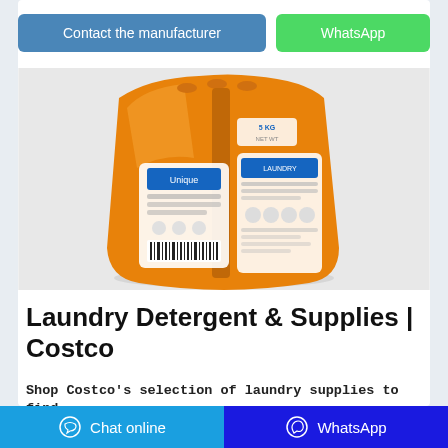[Figure (other): Blue button labeled 'Contact the manufacturer' and green button labeled 'WhatsApp']
[Figure (photo): Large orange bag of laundry detergent powder product with blue and white label design, standing upright on a light gray background]
Laundry Detergent & Supplies | Costco
Shop Costco's selection of laundry supplies to find a variety of laundry detergent, fabric softener, stain remover, odor defense & more.
[Figure (screenshot): Bottom navigation bar with 'Chat online' button on left (light blue) and 'WhatsApp' button on right (dark blue)]